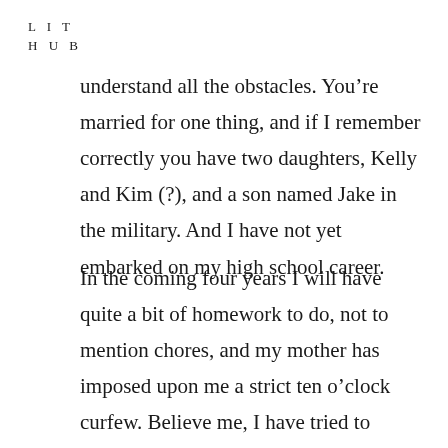L I T
H U B
understand all the obstacles. You’re married for one thing, and if I remember correctly you have two daughters, Kelly and Kim (?), and a son named Jake in the military. And I have not yet embarked on my high school career.
In the coming four years I will have quite a bit of homework to do, not to mention chores, and my mother has imposed upon me a strict ten o’clock curfew. Believe me, I have tried to